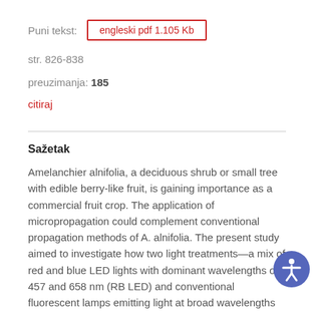Puni tekst: engleski pdf 1.105 Kb
str. 826-838
preuzimanja: 185
citiraj
Sažetak
Amelanchier alnifolia, a deciduous shrub or small tree with edible berry-like fruit, is gaining importance as a commercial fruit crop. The application of micropropagation could complement conventional propagation methods of A. alnifolia. The present study aimed to investigate how two light treatments—a mix of red and blue LED lights with dominant wavelengths of 457 and 658 nm (RB LED) and conventional fluorescent lamps emitting light at broad wavelengths